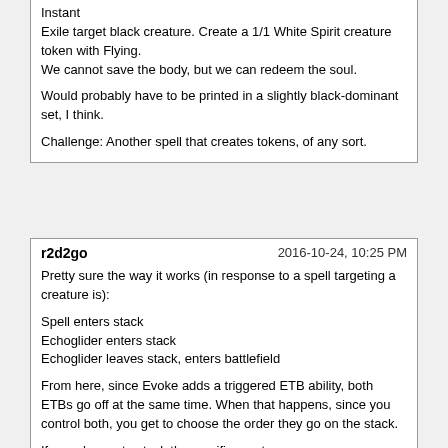Instant
Exile target black creature. Create a 1/1 White Spirit creature token with Flying.
We cannot save the body, but we can redeem the soul.

Would probably have to be printed in a slightly black-dominant set, I think.

Challenge: Another spell that creates tokens, of any sort.
r2d2go
2016-10-24, 10:25 PM
Pretty sure the way it works (in response to a spell targeting a creature is):

Spell enters stack
Echoglider enters stack
Echoglider leaves stack, enters battlefield

From here, since Evoke adds a triggered ETB ability, both ETBs go off at the same time. When that happens, since you control both, you get to choose the order they go on the stack.

If you choose to stack the sacrifice on top:

Echoglider exile goes on the stack.
Echoglider sacrifice goes on the stack
Echoglider sacrifice resolves
By the new "until" wording, the creature is not exiled (see Banisher Priest rulings (http://gatherer.wizards.com/Pages/Card/Details.aspx?multiverseid=394353))
Spell resolves

However, if you choose to sacrifice second:

Echoglider sacrifice goes on the stack
Echoglider exile goes on the stack
Echoglider exile resolves, exiling creature
Echoglider sacrifice resolves, second part of its ability triggers, enters stack.